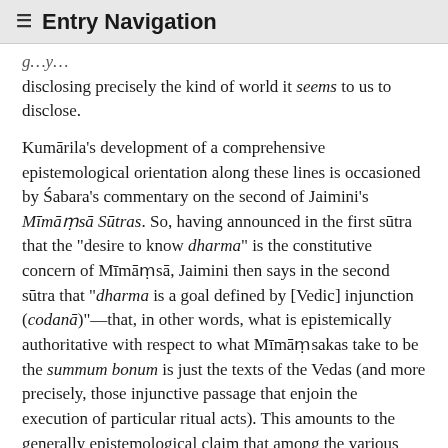≡ Entry Navigation
g…y…disclosing precisely the kind of world it seems to us to disclose.
Kumārila's development of a comprehensive epistemological orientation along these lines is occasioned by Śabara's commentary on the second of Jaimini's Mīmāṃsā Sūtras. So, having announced in the first sūtra that the "desire to know dharma" is the constitutive concern of Mīmāṃsā, Jaimini then says in the second sūtra that "dharma is a goal defined by [Vedic] injunction (codanā)"—that, in other words, what is epistemically authoritative with respect to what Mīmāṃsakas take to be the summum bonum is just the texts of the Vedas (and more precisely, those injunctive passage that enjoin the execution of particular ritual acts). This amounts to the generally epistemological claim that among the various ways of knowing available to us, the linguistic items that are Vedic texts uniquely represent "reliable epistemic warrants" (pramāṇa) with regard to dharma.